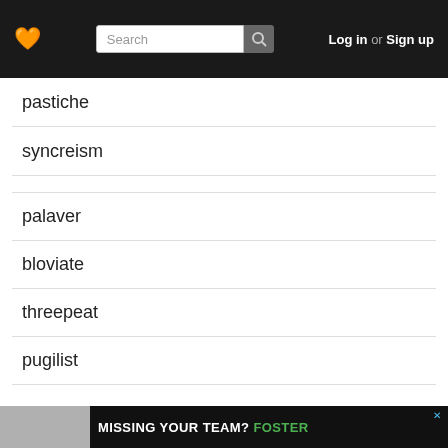Search | Log in or Sign up
pastiche
syncreism
palaver
bloviate
threepeat
pugilist
About
This list has no description.
[Figure (screenshot): Advertisement banner: MISSING YOUR TEAM? FOSTER]